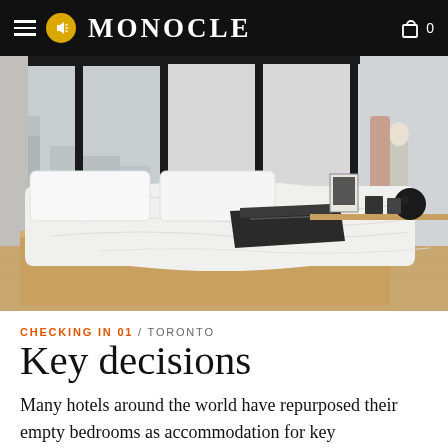MONOCLE
[Figure (photo): A minimalist hotel bedroom with a low platform bed, white bedding with a dark jacket placed on top, large industrial-style black-framed windows overlooking a cityscape, and a wooden shelf/desk along the wall with decorative objects.]
CHECKING IN 01 / TORONTO
Key decisions
Many hotels around the world have repurposed their empty bedrooms as accommodation for key